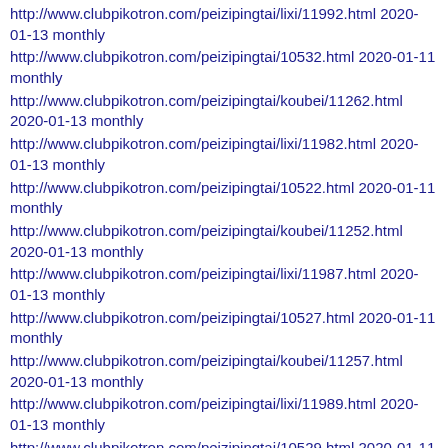http://www.clubpikotron.com/peizipingtai/lixi/11992.html 2020-01-13 monthly
http://www.clubpikotron.com/peizipingtai/10532.html 2020-01-11 monthly
http://www.clubpikotron.com/peizipingtai/koubei/11262.html 2020-01-13 monthly
http://www.clubpikotron.com/peizipingtai/lixi/11982.html 2020-01-13 monthly
http://www.clubpikotron.com/peizipingtai/10522.html 2020-01-11 monthly
http://www.clubpikotron.com/peizipingtai/koubei/11252.html 2020-01-13 monthly
http://www.clubpikotron.com/peizipingtai/lixi/11987.html 2020-01-13 monthly
http://www.clubpikotron.com/peizipingtai/10527.html 2020-01-11 monthly
http://www.clubpikotron.com/peizipingtai/koubei/11257.html 2020-01-13 monthly
http://www.clubpikotron.com/peizipingtai/lixi/11989.html 2020-01-13 monthly
http://www.clubpikotron.com/peizipingtai/10529.html 2020-01-11 monthly
http://www.clubpikotron.com/peizipingtai/koubei/11259.html 2020-01-13 monthly
http://www.clubpikotron.com/peizipingtai/lixi/11988.html 2020-